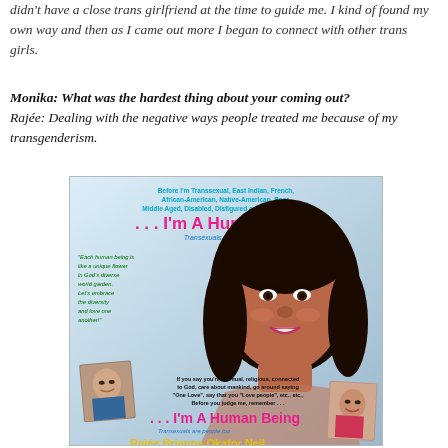didn't have a close trans girlfriend at the time to guide me. I kind of found my own way and then as I came out more I began to connect with other trans girls.
Monika: What was the hardest thing about your coming out? Rajée: Dealing with the negative ways people treated me because of my transgenderism.
[Figure (illustration): A poster/book cover titled '... I'm A Human Being – Transexuals are people too' featuring a woman's face prominently, text about identity labels, a quote about human beings as unique flowers, smaller photos, and bottom text about spirituality and judgment.]